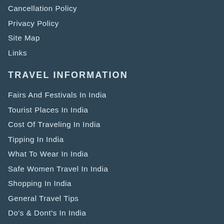Cancellation Policy
Privacy Policy
Site Map
Links
TRAVEL INFORMATION
Fairs And Festivals In India
Tourist Places In India
Cost Of Traveling In India
Tipping In India
What To Wear In India
Safe Women Travel In India
Shopping In India
General Travel Tips
Do's & Dont's In India
Help Line Numbers